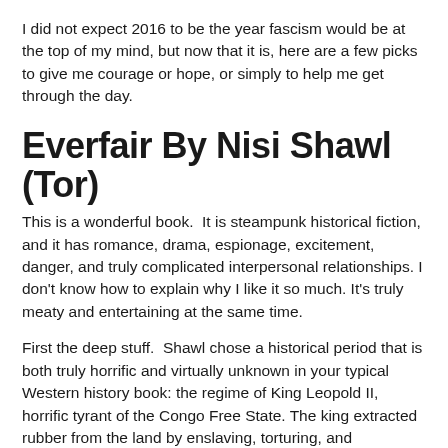I did not expect 2016 to be the year fascism would be at the top of my mind, but now that it is, here are a few picks to give me courage or hope, or simply to help me get through the day.
Everfair By Nisi Shawl (Tor)
This is a wonderful book.  It is steampunk historical fiction, and it has romance, drama, espionage, excitement, danger, and truly complicated interpersonal relationships. I don't know how to explain why I like it so much. It's truly meaty and entertaining at the same time.
First the deep stuff.  Shawl chose a historical period that is both truly horrific and virtually unknown in your typical Western history book: the regime of King Leopold II, horrific tyrant of the Congo Free State. The king extracted rubber from the land by enslaving, torturing, and murdering about half the populace--millions of people. (My own history textbook, which I kept because of its apparent completeness,